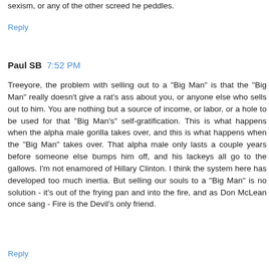sexism, or any of the other screed he peddles.
Reply
Paul SB  7:52 PM
Treeyore, the problem with selling out to a "Big Man" is that the "Big Man" really doesn't give a rat's ass about you, or anyone else who sells out to him. You are nothing but a source of income, or labor, or a hole to be used for that "Big Man's" self-gratification. This is what happens when the alpha male gorilla takes over, and this is what happens when the "Big Man" takes over. That alpha male only lasts a couple years before someone else bumps him off, and his lackeys all go to the gallows. I'm not enamored of Hillary Clinton. I think the system here has developed too much inertia. But selling our souls to a "Big Man" is no solution - it's out of the frying pan and into the fire, and as Don McLean once sang - Fire is the Devil's only friend.
Reply